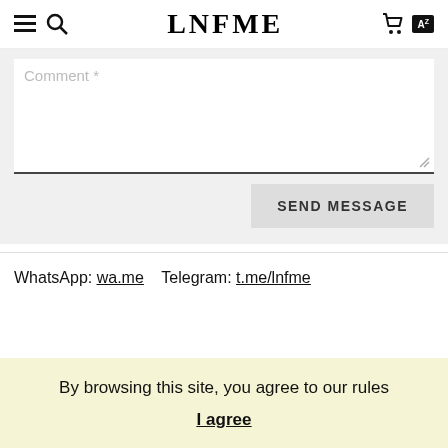LNFME
Comment *
SEND MESSAGE
WhatsApp: wa.me    Telegram: t.me/lnfme
By browsing this site, you agree to our rules
I agree